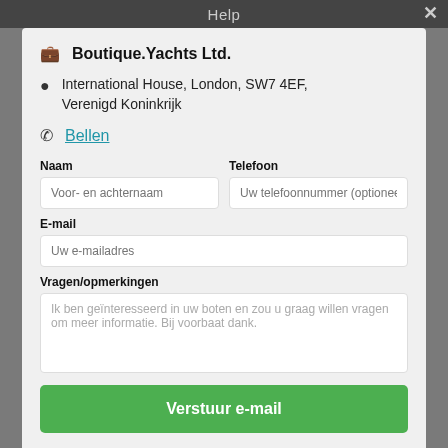Help
Boutique.Yachts Ltd.
International House, London, SW7 4EF, Verenigd Koninkrijk
Bellen
Naam
Voor- en achternaam
Telefoon
Uw telefoonnummer (optionee
E-mail
Uw e-mailadres
Vragen/opmerkingen
Ik ben geïnteresseerd in uw boten en zou u graag willen vragen om meer informatie. Bij voorbaat dank.
Verstuur e-mail